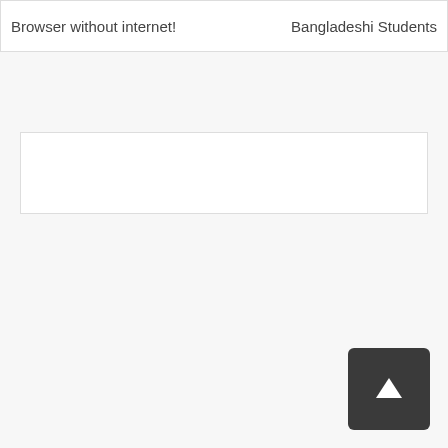Browser without internet!
Bangladeshi Students
[Figure (other): Empty white content box with light border]
[Figure (other): Dark rounded scroll-to-top button with upward arrow icon]